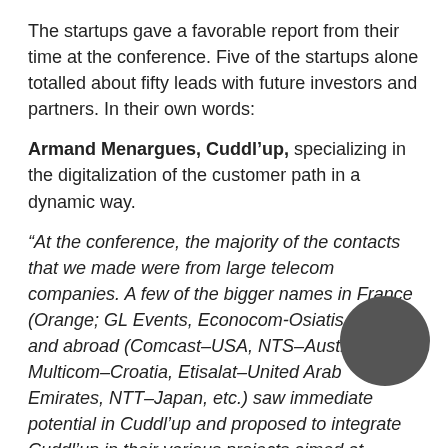The startups gave a favorable report from their time at the conference. Five of the startups alone totalled about fifty leads with future investors and partners. In their own words:
Armand Menargues, Cuddl’up, specializing in the digitalization of the customer path in a dynamic way.
“At the conference, the majority of the contacts that we made were from large telecom companies. A few of the bigger names in France (Orange; GL Events, Econocom-Osiatis, Qwant) and abroad (Comcast–USA, NTS–Austria, Multicom–Croatia, Etisalat–United Arab Emirates, NTT–Japan, etc.) saw immediate potential in Cuddl’up and proposed to integrate Cuddl’up in their various projects aimed at improving the client path through digital technology.”
About Cuddl’up: Cuddl’up presented its application connected across multiple platforms (table with touch screen, tablets, smartphones, etc). The startup is looking to find a niche in restaurants and hotels, as well as in retail,